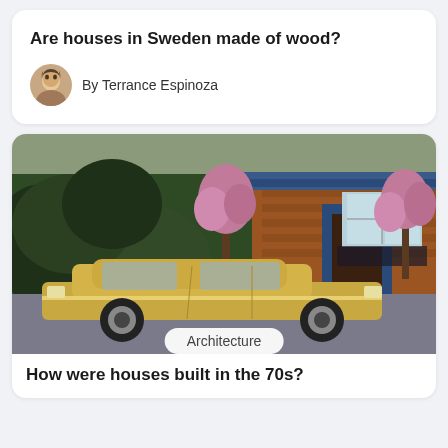Are houses in Sweden made of wood?
By Terrance Espinoza
[Figure (photo): Photograph of a brick house with blue trim, pink flowering trees and green hedges in the foreground, with a gold/tan classic 1970s car parked in front]
Architecture
How were houses built in the 70s?